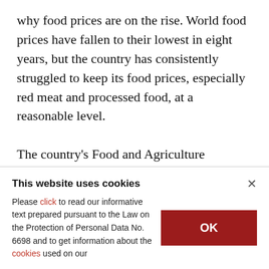why food prices are on the rise. World food prices have fallen to their lowest in eight years, but the country has consistently struggled to keep its food prices, especially red meat and processed food, at a reasonable level.

The country's Food and Agriculture Ministry decided on Feb. 10 to impose a price ceiling for red meat in a bid to control price rises. Food and beverages account for the largest portion of the
This website uses cookies
Please click to read our informative text prepared pursuant to the Law on the Protection of Personal Data No. 6698 and to get information about the cookies used on our